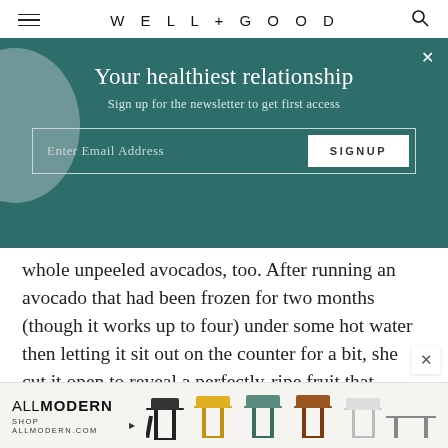WELL+GOOD
Your healthiest relationship
Sign up for the newsletter to get first access
Enter Email Address | SIGNUP
whole unpeeled avocados, too. After running an avocado that had been frozen for two months (though it works up to four) under some hot water then letting it sit out on the counter for a bit, she cut it open to reveal a perfectly-ripe fruit that looked like she just purchased it from the grocery store.
[Figure (screenshot): AllModern advertisement showing chairs in various colors with logo and 'SHOP ALLMODERN.COM' text]